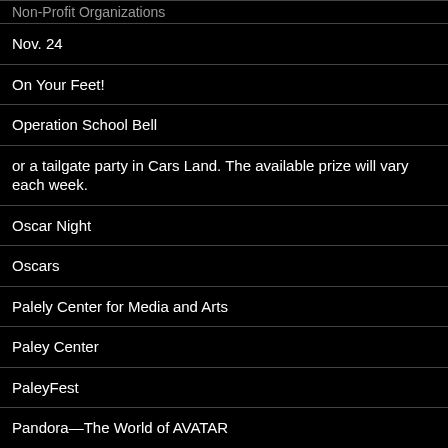Non-Profit Organizations
Nov. 24
On Your Feet!
Operation School Bell
or a tailgate party in Cars Land. The available prize will vary each week.
Oscar Night
Oscars
Palely Center for Media and Arts
Paley Center
PaleyFest
Pandora—The World of AVATAR
Pantages Theater
Pantages Theatre Bodyguard Review